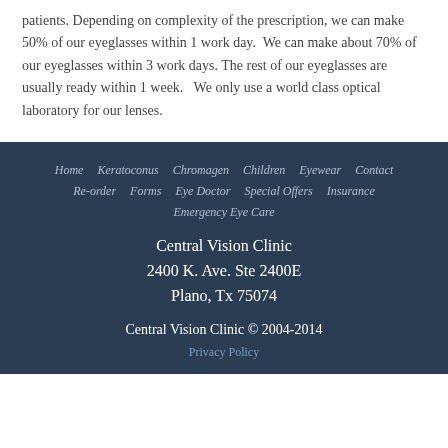patients. Depending on complexity of the prescription, we can make 50% of our eyeglasses within 1 work day.  We can make about 70% of our eyeglasses within 3 work days. The rest of our eyeglasses are usually ready within 1 week.   We only use a world class optical laboratory for our lenses.
Home  Keratoconus  Chromagen  Children  Eyewear  Contact  Re-order  Forms  Eye Doctor  Special Offers  Insurance  Emergency Eye Care  Central Vision Clinic  2400 K. Ave. Ste 2400E  Plano, Tx 75074  Central Vision Clinic © 2004-2014  Privacy Policy